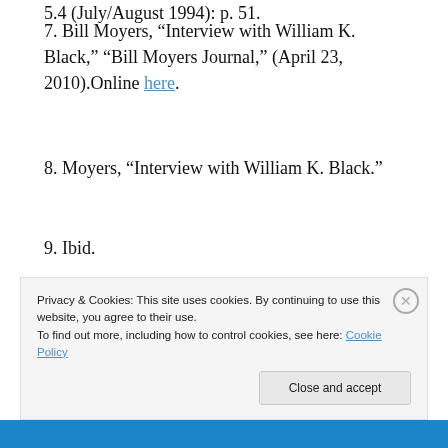5.4 (July/August 1994): p. 51.
7. Bill Moyers, “Interview with William K. Black,” “Bill Moyers Journal,” (April 23, 2010).Online here.
8. Moyers, “Interview with William K. Black.”
9. Ibid.
10. I am taking this concept from Jacques Derrida, “Autoimmunity: Real and Symbolic Suicides – A Dialogue with Jacques Derrida,” “Philosophy in a Time
Privacy & Cookies: This site uses cookies. By continuing to use this website, you agree to their use. To find out more, including how to control cookies, see here: Cookie Policy